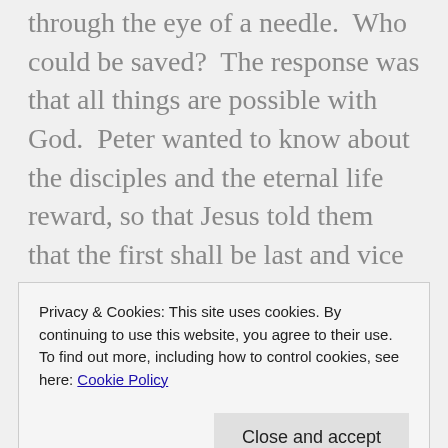through the eye of a needle.  Who could be saved?  The response was that all things are possible with God.  Peter wanted to know about the disciples and the eternal life reward, so that Jesus told them that the first shall be last and vice versa.

Then Jesus presented the parable of the laborers in the vineyard.  He hired the first laborers, and then late in the day a second group, a third group and finally a fourth group of laborers.  The last group
Privacy & Cookies: This site uses cookies. By continuing to use this website, you agree to their use.
To find out more, including how to control cookies, see here: Cookie Policy
On the way to Jerusalem, Jesus predicted what was